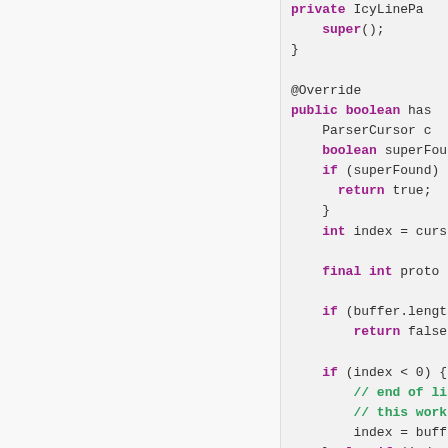[Figure (screenshot): Code editor screenshot showing Java source code with syntax highlighting. Left panel is blank/empty (light gray). Right panel shows code with keywords in bold purple, comments in green, and normal text in dark gray. Code includes: private IcyLinePa..., super();, }, @Override, public boolean has..., ParserCursor c..., boolean superFou..., if (superFound)..., return true;, }, int index = curs..., final int proto..., if (buffer.lengt..., return false..., if (index < 0) {, // end of li..., // this work..., index = buff..., } else if (index..., // beginning..., while ((inde...]